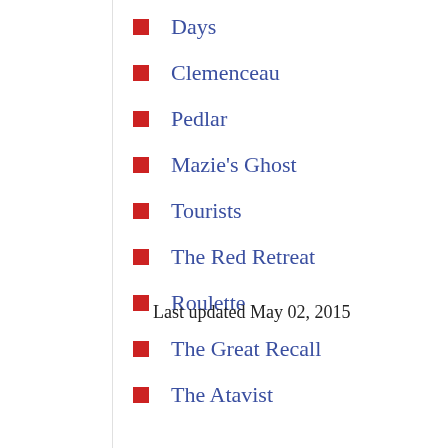Days
Clemenceau
Pedlar
Mazie's Ghost
Tourists
The Red Retreat
Roulette
The Great Recall
The Atavist
Last updated May 02, 2015